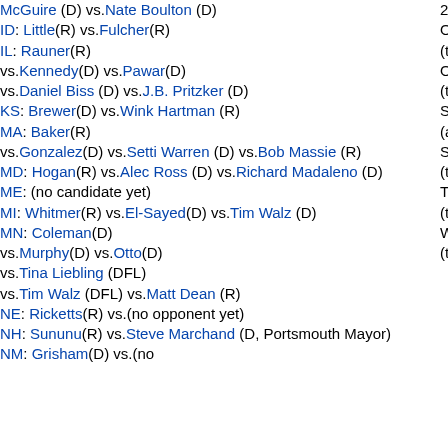McGuire (D) vs.Nate Boulton (D)
ID: Little(R) vs.Fulcher(R)
IL: Rauner(R) vs.Kennedy(D) vs.Pawar(D) vs.Daniel Biss (D) vs.J.B. Pritzker (D)
KS: Brewer(D) vs.Wink Hartman (R)
MA: Baker(R) vs.Gonzalez(D) vs.Setti Warren (D) vs.Bob Massie (R)
MD: Hogan(R) vs.Alec Ross (D) vs.Richard Madaleno (D)
ME: (no candidate yet)
MI: Whitmer(R) vs.El-Sayed(D) vs.Tim Walz (D)
MN: Coleman(D) vs.Murphy(D) vs.Otto(D) vs.Tina Liebling (DFL) vs.Tim Walz (DFL) vs.Matt Dean (R)
NE: Ricketts(R) vs.(no opponent yet)
NH: Sununu(R) vs.Steve Marchand (D, Portsmouth Mayor)
NM: Grisham(D) vs.(no
2018)
OH-R: John Kasich (term-limited 2018)
OK-R: Mary Fallin (term-limited 2018)
SC-R: Nikki Haley (appointed ambassador, 2017)
SD-R: Dennis Daugaard (term-limited 2018)
TN-R: Bill Haslam (term-limited 2018)
WY-R: Matt Mead (term-limited 2018)